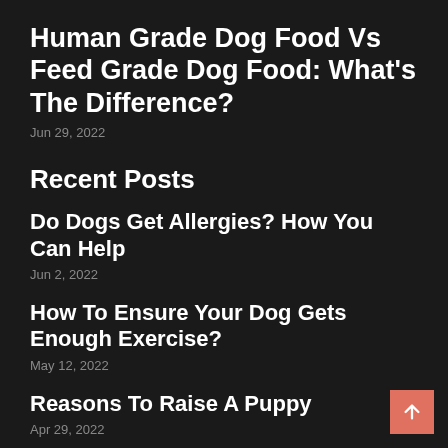Human Grade Dog Food Vs Feed Grade Dog Food: What's The Difference?
Jun 29, 2022
Recent Posts
Do Dogs Get Allergies? How You Can Help
Jun 2, 2022
How To Ensure Your Dog Gets Enough Exercise?
May 12, 2022
Reasons To Raise A Puppy
Apr 29, 2022